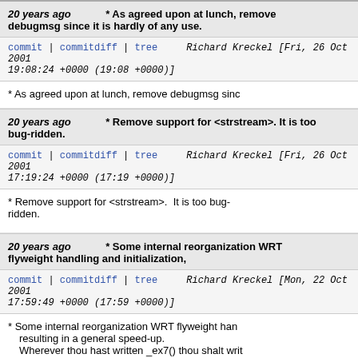20 years ago * As agreed upon at lunch, remove debugmsg since it is hardly of any use.
commit | commitdiff | tree   Richard Kreckel [Fri, 26 Oct 2001 19:08:24 +0000 (19:08 +0000)]
* As agreed upon at lunch, remove debugmsg sinc
20 years ago * Remove support for <strstream>. It is too bug-ridden.
commit | commitdiff | tree   Richard Kreckel [Fri, 26 Oct 2001 17:19:24 +0000 (17:19 +0000)]
* Remove support for <strstream>.  It is too bug-ridden.
20 years ago * Some internal reorganization WRT flyweight handling and initialization,
commit | commitdiff | tree   Richard Kreckel [Mon, 22 Oct 2001 17:59:49 +0000 (17:59 +0000)]
* Some internal reorganization WRT flyweight han resulting in a general speed-up. Wherever thou hast written _ex7() thou shalt writ